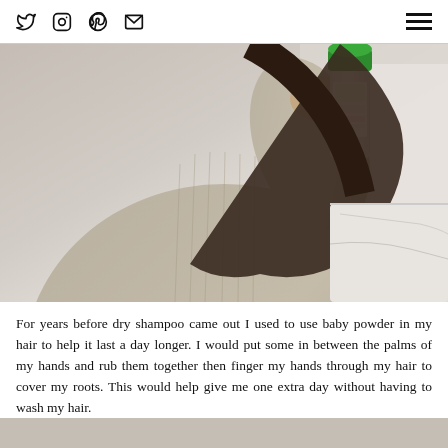Social icons: Twitter, Instagram, Pinterest, Email | Hamburger menu
[Figure (photo): A woman in a beige ribbed cardigan holding a green-capped spray can of dry shampoo, shown from neck to waist in a bathroom setting with a marble counter in the background.]
For years before dry shampoo came out I used to use baby powder in my hair to help it last a day longer. I would put some in between the palms of my hands and rub them together then finger my hands through my hair to cover my roots. This would help give me one extra day without having to wash my hair.